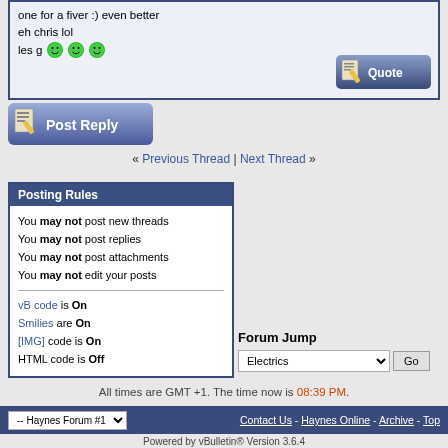one for a fiver :) even better
eh chris lol
les g :D :D :D
[Figure (screenshot): Quote button with pencil/paper icon]
[Figure (screenshot): Post Reply button with pencil/paper icon]
« Previous Thread | Next Thread »
Posting Rules
You may not post new threads
You may not post replies
You may not post attachments
You may not edit your posts
vB code is On
Smilies are On
[IMG] code is On
HTML code is Off
Forum Jump
Electrics
All times are GMT +1. The time now is 08:39 PM.
-- Haynes Forum #1
Contact Us - Haynes Online - Archive - Top
Powered by vBulletin® Version 3.6.4
Copyright ©2000 - 2022, Jelsoft Enterprises Ltd.